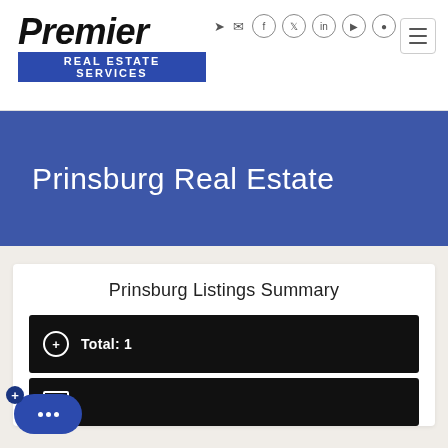[Figure (logo): Premier Real Estate Services logo with bold italic text 'Premier' and blue banner subtitle 'REAL ESTATE SERVICES']
[Figure (screenshot): Social media icons row: login arrow, envelope, Facebook, Twitter, LinkedIn, YouTube, Instagram]
[Figure (infographic): Hamburger menu button (three horizontal lines in a rounded rectangle)]
Prinsburg Real Estate
Prinsburg Listings Summary
Total: 1